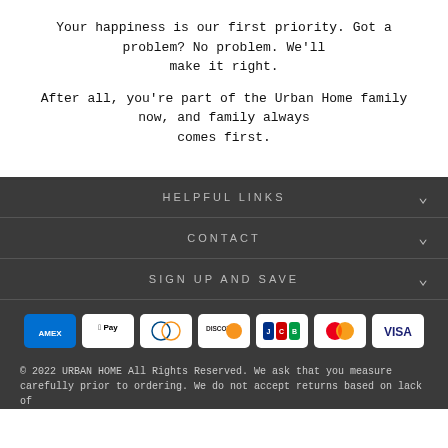Your happiness is our first priority. Got a problem? No problem. We'll make it right.
After all, you're part of the Urban Home family now, and family always comes first.
HELPFUL LINKS
CONTACT
SIGN UP AND SAVE
[Figure (other): Payment method icons: American Express, Apple Pay, Diners Club, Discover, JCB, Mastercard, Visa]
© 2022 URBAN HOME All Rights Reserved. We ask that you measure carefully prior to ordering. We do not accept returns based on lack of